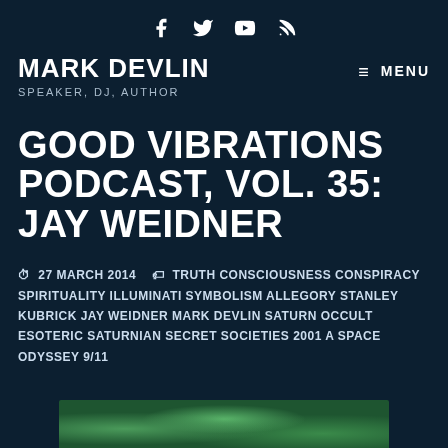Social icons: Facebook, Twitter, YouTube, RSS
MARK DEVLIN
SPEAKER, DJ, AUTHOR
≡ MENU
GOOD VIBRATIONS PODCAST, VOL. 35: JAY WEIDNER
27 MARCH 2014  TRUTH CONSCIOUSNESS CONSPIRACY SPIRITUALITY ILLUMINATI SYMBOLISM ALLEGORY STANLEY KUBRICK JAY WEIDNER MARK DEVLIN SATURN OCCULT ESOTERIC SATURNIAN SECRET SOCIETIES 2001 A SPACE ODYSSEY 9/11
[Figure (photo): Partial thumbnail image of green foliage at the bottom of the page]